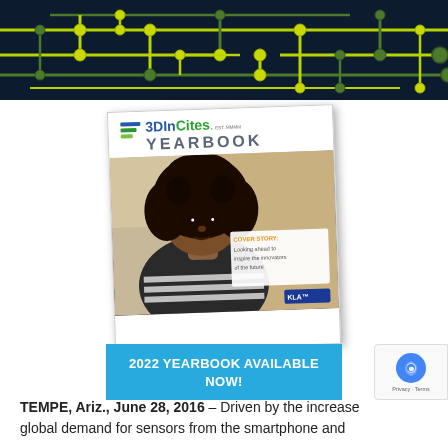[Figure (photo): Close-up photo of a circuit board with green and yellow circuit traces on a dark navy blue background, showing PCB pathways and connection pads]
[Figure (photo): 3DInCites Yearbook 2022 magazine cover showing a young Black girl with natural hair working with educational equipment, with a 'COVER STORY: Looking ahead to inspire the innovators of the future' callout box. Below the cover is a cyan banner reading '2022 YEARBOOK AVAILABLE NOW!']
TEMPE, Ariz., June 28, 2016 – Driven by the increase global demand for sensors from the smartphone and